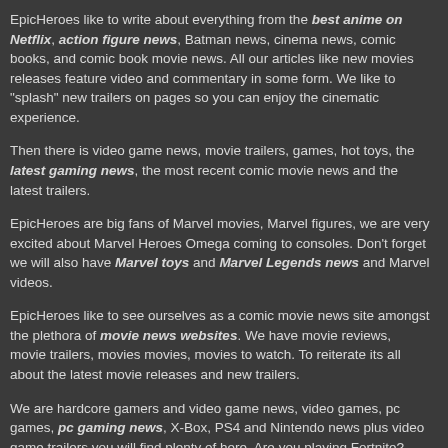EpicHeroes like to write about everything from the best anime on Netflix, action figure news, Batman news, cinema news, comic books, and comic book movie news. All our articles like new movies releases feature video and commentary in some form. We like to "splash" new trailers on pages so you can enjoy the cinematic experience.
Then there is video game news, movie trailers, games, hot toys, the latest gaming news, the most recent comic movie news and the latest trailers.
EpicHeroes are big fans of Marvel movies, Marvel figures, we are very excited about Marvel Heroes Omega coming to consoles. Don't forget we will also have Marvel toys and Marvel Legends news and Marvel videos.
EpicHeroes like to see ourselves as a comic movie news site amongst the plethora of movie news websites. We have movie reviews, movie trailers, movies movies, movies to watch. To reiterate its all about the latest movie releases and new trailers.
We are hardcore gamers and video game news, video games, pc games, pc gaming news, X-Box, PS4 and Nintendo news plus video game trailers you will find plenty of here. Are you playing Fortnite?
Wait there is more like Star Wars toy news, toy news in general, Transformers news, Transformers toys. We love sharing videos about Star Wars .. We have loads of Fan-made Star Wars movies on the site, be sure to search the archives.
In case you missed it there will be info on upcoming comic book movies, superhero films, superhero movie news, superhero movies coming